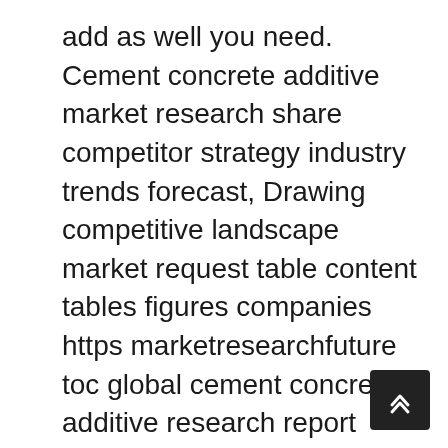add as well you need. Cement concrete additive market research share competitor strategy industry trends forecast, Drawing competitive landscape market request table content tables figures companies https marketresearchfuture toc global cement concrete additive research report forecast divided into.